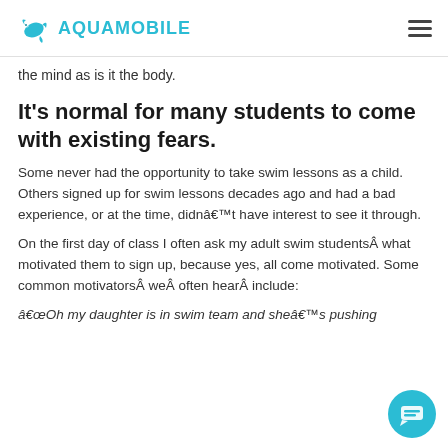AQUAMOBILE
the mind as is it the body.
It's normal for many students to come with existing fears.
Some never had the opportunity to take swim lessons as a child. Others signed up for swim lessons decades ago and had a bad experience, or at the time, didnâ€™t have interest to see it through.
On the first day of class I often ask my adult swim studentsÂ what motivated them to sign up, because yes, all come motivated. Some common motivatorsÂ weÂ often hearÂ include:
â€œOh my daughter is in swim team and sheâ€™s pushing